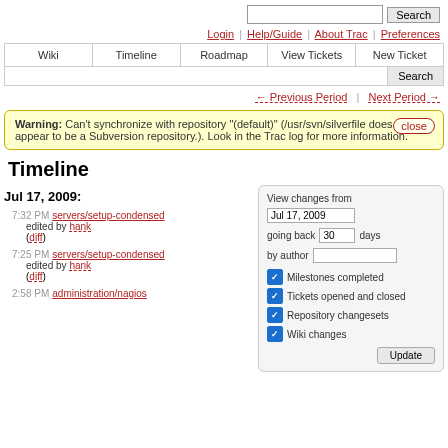Search
Login | Help/Guide | About Trac | Preferences
Wiki | Timeline | Roadmap | View Tickets | New Ticket | Search
← Previous Period | Next Period →
Warning: Can't synchronize with repository "(default)" (/usr/svn/silverfile does not appear to be a Subversion repository.). Look in the Trac log for more information. close
Timeline
Jul 17, 2009:
7:32 PM servers/setup-condensed edited by hank (diff)
7:25 PM servers/setup-condensed edited by hank (diff)
2:58 PM administration/nagios